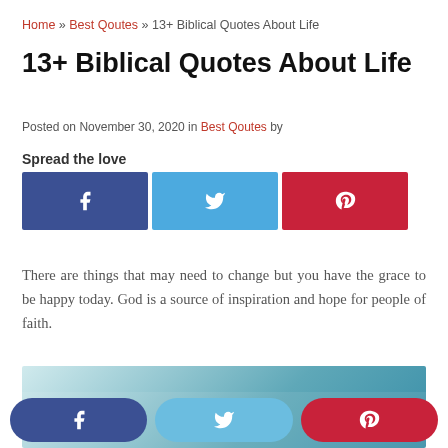Home » Best Qoutes » 13+ Biblical Quotes About Life
13+ Biblical Quotes About Life
Posted on November 30, 2020 in Best Qoutes by
Spread the love
[Figure (infographic): Social sharing buttons: Facebook (dark blue), Twitter (light blue), Pinterest (red)]
There are things that may need to change but you have the grace to be happy today. God is a source of inspiration and hope for people of faith.
[Figure (photo): Partially visible image with teal/blue gradient background and a decorative quotation mark illustration at bottom left]
[Figure (infographic): Bottom sticky social sharing bar with Facebook, Twitter, and Pinterest rounded buttons]